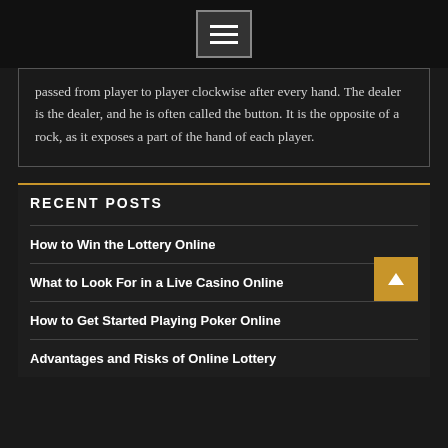[Figure (other): Hamburger menu button with three horizontal lines, dark background]
passed from player to player clockwise after every hand. The dealer is the dealer, and he is often called the button. It is the opposite of a rock, as it exposes a part of the hand of each player.
RECENT POSTS
How to Win the Lottery Online
What to Look For in a Live Casino Online
How to Get Started Playing Poker Online
Advantages and Risks of Online Lottery